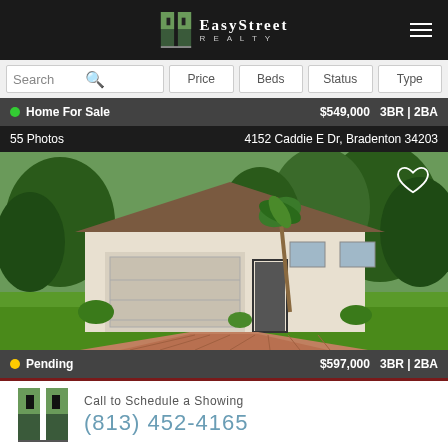EasyStreet Realty
Search | Price | Beds | Status | Type
Home For Sale  $549,000  3BR | 2BA
55 Photos  4152 Caddie E Dr, Bradenton 34203
[Figure (photo): Exterior photo of a single-family home with two-car garage, paver driveway, and landscaped yard]
Pending  $597,000  3BR | 2BA
Call to Schedule a Showing  (813) 452-4165